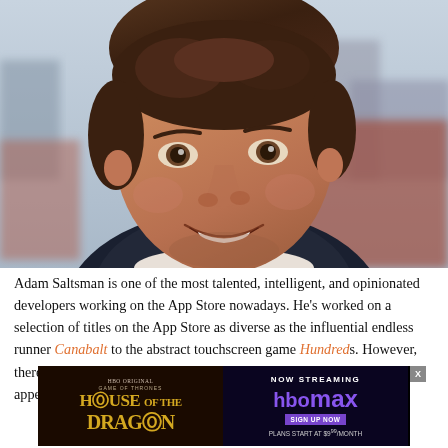[Figure (photo): Headshot of Adam Saltsman, a young man with brown wavy hair, smiling, wearing a dark jacket, with an urban background of brick buildings and city skyline]
Adam Saltsman is one of the most talented, intelligent, and opinionated developers working on the App Store nowadays. He's worked on a selection of titles on the App Store as diverse as the influential endless runner Canabalt to the abstract touchscreen game Hundreds. However, there are [ad overlay] al as it appears [ad overlay] res and the indie [ad overlay]
[Figure (other): Advertisement overlay: left side shows HBO Original Game of Thrones: House of the Dragon logo on dark background; right side shows NOW STREAMING HBO Max with SIGN UP NOW button and PLANS START AT $9.99/MONTH text. An X close button is visible.]